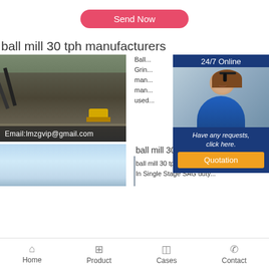Send Now
ball mill 30 tph manufacturers
[Figure (photo): Mining/quarry site with conveyor belts, rock piles, and a yellow loader/bulldozer working on a gravel site]
Email:lmzgvip@gmail.com
Ball... 2
Grinding...
manufacturers... Y...
manufacturers... 13...
used... Q...
[Figure (photo): Customer service representative: woman wearing headset, smiling, with 24/7 Online banner and Have any requests, click here. / Quotation button]
ball mill 30 tph manufacturers
ball mill 30 tph manufacturers
In Single Stage SAG duty...
Home   Product   Cases   Contact